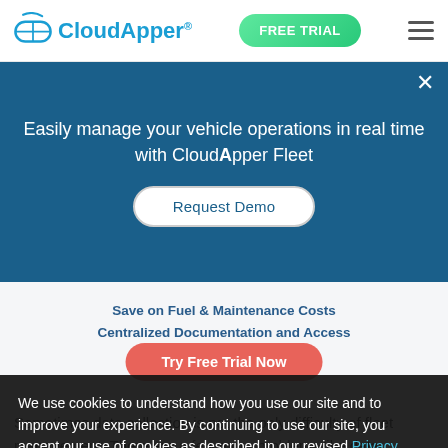CloudApper® — FREE TRIAL — navigation menu
Easily manage your vehicle operations in real time with CloudApper Fleet
Request Demo
Save on Fuel & Maintenance Costs
Centralized Documentation and Access
Try Free Trial Now
Analytics and Reporting
We use cookies to understand how you use our site and to improve your experience. By continuing to use our site, you accept our use of cookies as described in our revised Privacy Policy.
ACCEPT
Sometimes data collection is not the only difficulty of fleet management. There are a few more problems like data consolidation, screening, analyzing, and